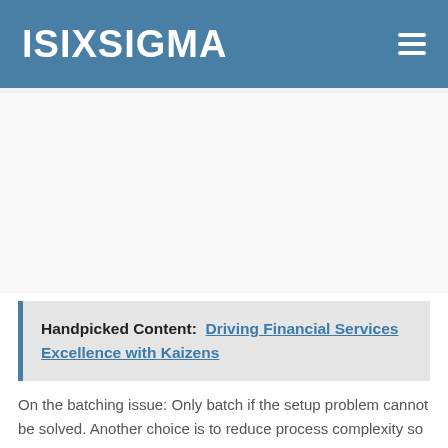ISIXSIGMA
Handpicked Content: Driving Financial Services Excellence with Kaizens
On the batching issue: Only batch if the setup problem cannot be solved. Another choice is to reduce process complexity so there are not so many setups in the first place.